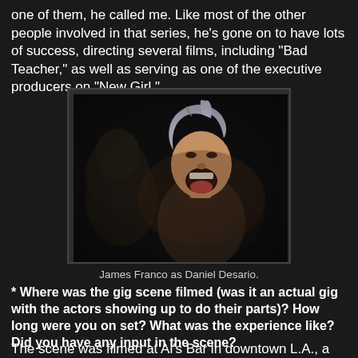one of them, he called me. Like most of the other people involved in that series, he's gone on to have lots of success, directing several films, including "Bad Teacher," as well as serving as one of the executive producers on "New Girl."
[Figure (photo): Film still showing an actor (James Franco) as Daniel Desario, appearing to scream or yell with mouth wide open, silver/grey styled hair, wearing what appears to be dark clothing, in a dark dramatic scene.]
James Franco as Daniel Desario.
* Where was the gig scene filmed (was it an actual gig with the actors showing up to do their parts)? How long were you on set? What was the experience like? Did you have any input in the scene?
The scene was filmed at Al's Bar in downtown L.A., a